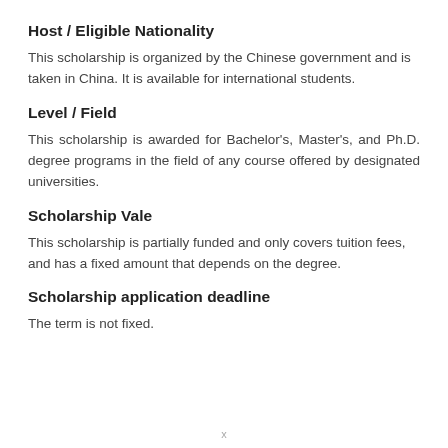Host / Eligible Nationality
This scholarship is organized by the Chinese government and is taken in China. It is available for international students.
Level / Field
This scholarship is awarded for Bachelor's, Master's, and Ph.D. degree programs in the field of any course offered by designated universities.
Scholarship Vale
This scholarship is partially funded and only covers tuition fees, and has a fixed amount that depends on the degree.
Scholarship application deadline
The term is not fixed.